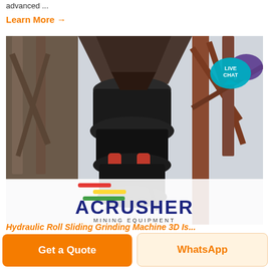advanced ...
Learn More →
[Figure (photo): Crushing machine equipment (cone crusher) mounted on a steel frame structure, with a white ACRUSHER Mining Equipment branded panel at the bottom of the image. A Live Chat bubble is visible in the top-right corner of the image.]
Hydraulic Roll Sliding Grinding Machine 3D Is...
Get a Quote
WhatsApp